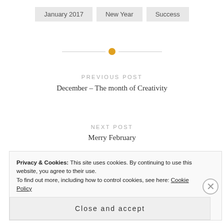January 2017
New Year
Success
[Figure (other): Horizontal divider line with orange circle dot in center]
PREVIOUS POST
December – The month of Creativity
NEXT POST
Merry February
Privacy & Cookies: This site uses cookies. By continuing to use this website, you agree to their use.
To find out more, including how to control cookies, see here: Cookie Policy
Close and accept